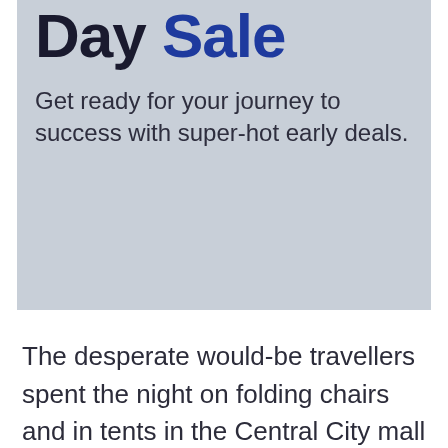[Figure (infographic): Advertisement banner with light blue-gray background showing partial text 'Day Sale' in large bold font (dark navy and blue) and subtitle text 'Get ready for your journey to success with super-hot early deals.']
The desperate would-be travellers spent the night on folding chairs and in tents in the Central City mall parking lot to get a better